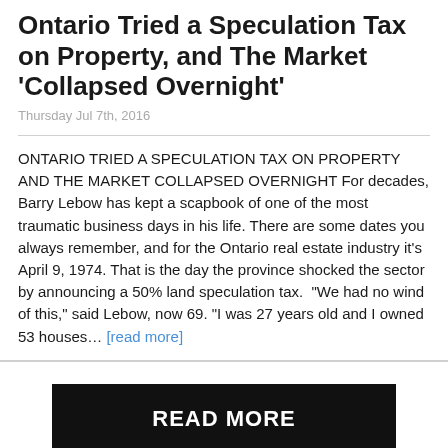Ontario Tried a Speculation Tax on Property, and The Market 'Collapsed Overnight'
Thursday Jul 7th, 2016
ONTARIO TRIED A SPECULATION TAX ON PROPERTY AND THE MARKET COLLAPSED OVERNIGHT For decades, Barry Lebow has kept a scapbook of one of the most traumatic business days in his life. There are some dates you always remember, and for the Ontario real estate industry it's April 9, 1974. That is the day the province shocked the sector by announcing a 50% land speculation tax.  "We had no wind of this," said Lebow, now 69. "I was 27 years old and I owned 53 houses... [read more]
READ MORE